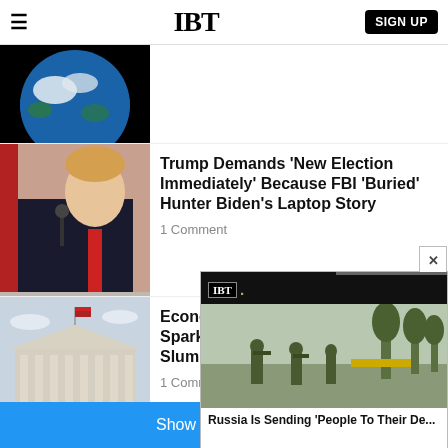IBT  SIGN UP
[Figure (photo): Partial view of Earth from space, dark background]
[Figure (photo): Donald Trump speaking at podium with red tie and dark suit]
Trump Demands 'New Election Immediately' Because FBI 'Buried' Hunter Biden's Laptop Story
1 Comment
[Figure (photo): Federal Reserve building exterior]
Economists Say Fed Needed To Spark Recession To Fix Economic Slump
1 Comment
[Figure (photo): Video overlay: IBT logo bar with Russia soldiers walking; caption: Russia Is Sending 'People To Their De...]
Show more articles